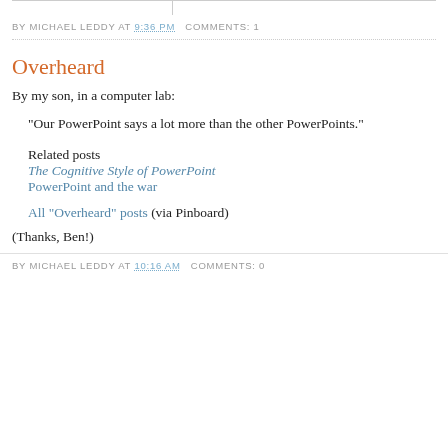BY MICHAEL LEDDY AT 9:36 PM   COMMENTS: 1
Overheard
By my son, in a computer lab:
"Our PowerPoint says a lot more than the other PowerPoints."
Related posts
The Cognitive Style of PowerPoint
PowerPoint and the war
All "Overheard" posts (via Pinboard)
(Thanks, Ben!)
BY MICHAEL LEDDY AT 10:16 AM   COMMENTS: 0